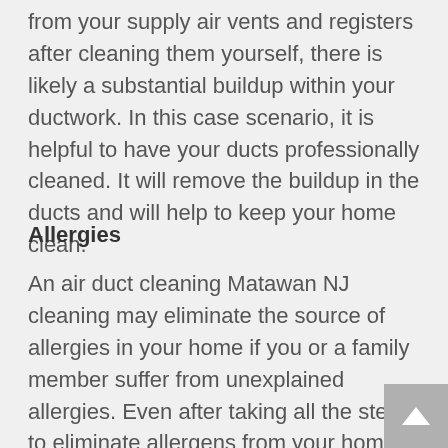from your supply air vents and registers after cleaning them yourself, there is likely a substantial buildup within your ductwork. In this case scenario, it is helpful to have your ducts professionally cleaned. It will remove the buildup in the ducts and will help to keep your home clean.
Allergies
An air duct cleaning Matawan NJ cleaning may eliminate the source of allergies in your home if you or a family member suffer from unexplained allergies. Even after taking all the steps to eliminate allergens from your home, symptoms may still occur due to allergens in your duct work.